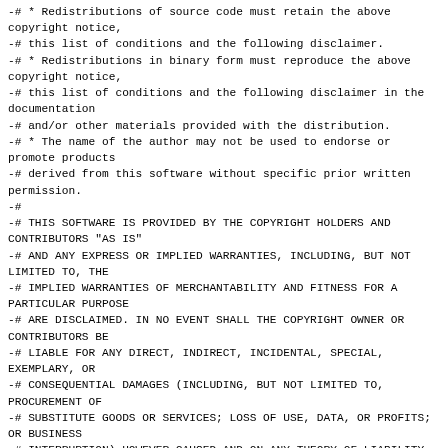-# * Redistributions of source code must retain the above copyright notice,
-# this list of conditions and the following disclaimer.
-# * Redistributions in binary form must reproduce the above copyright notice,
-# this list of conditions and the following disclaimer in the documentation
-# and/or other materials provided with the distribution.
-# * The name of the author may not be used to endorse or promote products
-# derived from this software without specific prior written permission.
-#
-# THIS SOFTWARE IS PROVIDED BY THE COPYRIGHT HOLDERS AND CONTRIBUTORS "AS IS"
-# AND ANY EXPRESS OR IMPLIED WARRANTIES, INCLUDING, BUT NOT LIMITED TO, THE
-# IMPLIED WARRANTIES OF MERCHANTABILITY AND FITNESS FOR A PARTICULAR PURPOSE
-# ARE DISCLAIMED. IN NO EVENT SHALL THE COPYRIGHT OWNER OR CONTRIBUTORS BE
-# LIABLE FOR ANY DIRECT, INDIRECT, INCIDENTAL, SPECIAL, EXEMPLARY, OR
-# CONSEQUENTIAL DAMAGES (INCLUDING, BUT NOT LIMITED TO, PROCUREMENT OF
-# SUBSTITUTE GOODS OR SERVICES; LOSS OF USE, DATA, OR PROFITS; OR BUSINESS
-# INTERRUPTION) HOWEVER CAUSED AND ON ANY THEORY OF LIABILITY, WHETHER IN